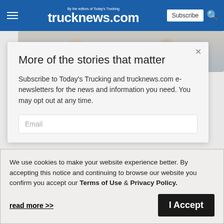trucknews.com — By the editors of Today's Trucking
[Figure (photo): Photo strip showing two people near a truck, partially visible behind a modal dialog]
More of the stories that matter
Subscribe to Today's Trucking and trucknews.com e-newsletters for the news and information you need. You may opt out at any time.
Email
We use cookies to make your website experience better. By accepting this notice and continuing to browse our website you confirm you accept our Terms of Use & Privacy Policy.
read more >>
I Accept